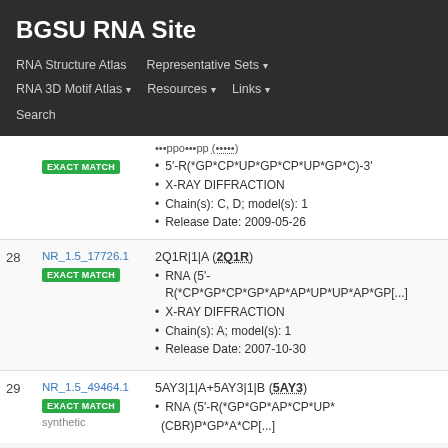BGSU RNA Site
RNA Structure Atlas | Representative Sets ▾ | RNA 3D Motif Atlas ▾ | Resources ▾ | Links ▾ | Search
| # | NR ID | Entry Details |
| --- | --- | --- |
| 27 (partial) | NR_1.5_... (EXACT MATCH) | ...ppo...pp (...)
5'-R(*GP*CP*UP*GP*CP*UP*GP*C)-3'
X-RAY DIFFRACTION
Chain(s): C, D; model(s): 1
Release Date: 2009-05-26 |
| 28 | NR_1.5_17726.1 (EXACT MATCH) | 2Q1R|1|A (2Q1R)
RNA (5'-R(*CP*GP*CP*GP*AP*AP*UP*UP*AP*GP[...]
X-RAY DIFFRACTION
Chain(s): A; model(s): 1
Release Date: 2007-10-30 |
| 29 | NR_1.5_49464.1 (EXACT MATCH)
synthetic | 5AY3|1|A+5AY3|1|B (5AY3)
RNA (5'-R(*GP*GP*AP*CP*UP*(CBR)P*GP*A*CP[...] |